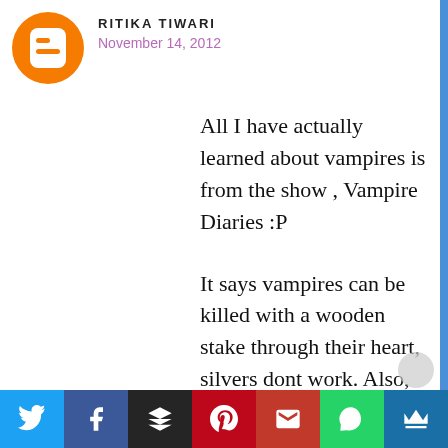[Figure (logo): Blogger orange circle logo with white 'B' icon]
RITIKA TIWARI
November 14, 2012
All I have actually learned about vampires is from the show , Vampire Diaries :P
It says vampires can be killed with a wooden stake through their heart, silvers dont work. Also, they mentioned a plant called Vervain which
[Figure (infographic): Social sharing bar with Twitter, Facebook, Buffer, Pinterest, Gmail, WhatsApp, and Crown icons]